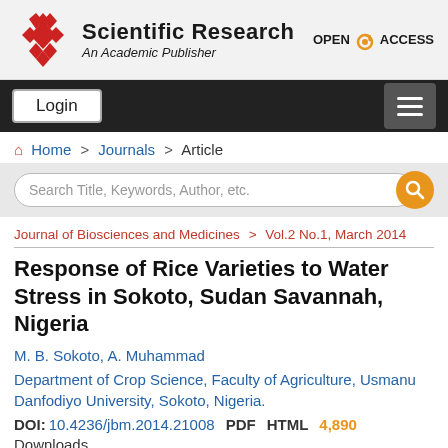Scientific Research — An Academic Publisher | OPEN ACCESS
Login
Home > Journals > Article
Search Title, Keywords, Author, etc.
Journal of Biosciences and Medicines > Vol.2 No.1, March 2014
Response of Rice Varieties to Water Stress in Sokoto, Sudan Savannah, Nigeria
M. B. Sokoto, A. Muhammad
Department of Crop Science, Faculty of Agriculture, Usmanu Danfodiyo University, Sokoto, Nigeria.
DOI: 10.4236/jbm.2014.21008   PDF   HTML   4,890 Downloads